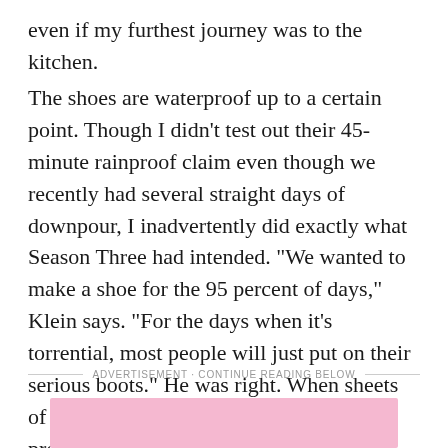even if my furthest journey was to the kitchen.
The shoes are waterproof up to a certain point. Though I didn't test out their 45-minute rainproof claim even though we recently had several straight days of downpour, I inadvertently did exactly what Season Three had intended. "We wanted to make a shoe for the 95 percent of days," Klein says. "For the days when it's torrential, most people will just put on their serious boots." He was right. When sheets of rain were dumping outside, I opted for proper rubber rain boots instead.
ADVERTISEMENT · CONTINUE READING BELOW